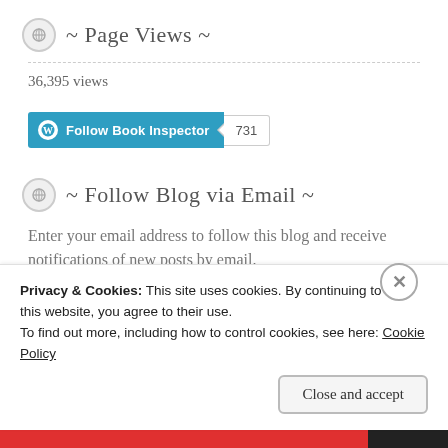~ Page Views ~
36,395 views
[Figure (screenshot): WordPress Follow Book Inspector button with follower count badge showing 731]
~ Follow Blog via Email ~
Enter your email address to follow this blog and receive notifications of new posts by email.
Privacy & Cookies: This site uses cookies. By continuing to use this website, you agree to their use.
To find out more, including how to control cookies, see here: Cookie Policy
Close and accept